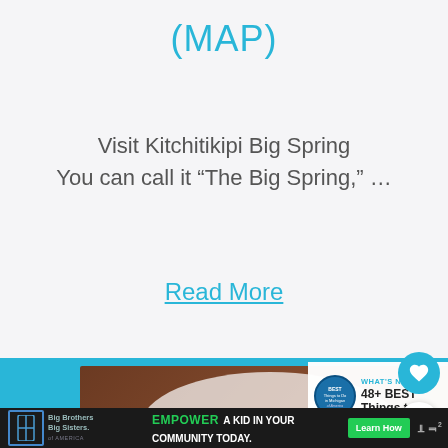(MAP)
Visit Kitchitikipi Big Spring
You can call it “The Big Spring,” …
Read More
[Figure (photo): Bottom section showing a food/meal photo with cyan border and a 'What's Next' overlay card showing '48+ BEST Things to D...' with a badge icon]
[Figure (infographic): Bottom ad bar with Big Brothers Big Sisters logo, EMPOWER A KID IN YOUR COMMUNITY TODAY. ad text, Learn How button, and WV logo]